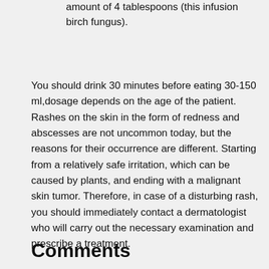amount of 4 tablespoons (this infusion birch fungus).
You should drink 30 minutes before eating 30-150 ml,dosage depends on the age of the patient. Rashes on the skin in the form of redness and abscesses are not uncommon today, but the reasons for their occurrence are different. Starting from a relatively safe irritation, which can be caused by plants, and ending with a malignant skin tumor. Therefore, in case of a disturbing rash, you should immediately contact a dermatologist who will carry out the necessary examination and prescribe a treatment.
Comments